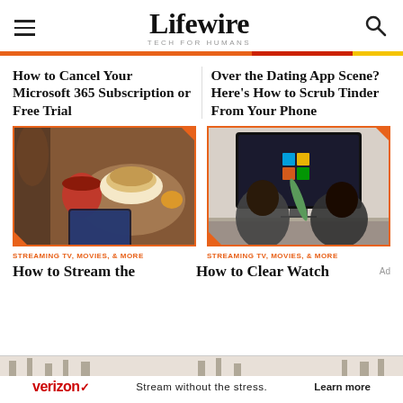Lifewire TECH FOR HUMANS
How to Cancel Your Microsoft 365 Subscription or Free Trial
Over the Dating App Scene? Here's How to Scrub Tinder From Your Phone
[Figure (photo): Overhead view of a person using a tablet at a table with coffee and pancakes]
[Figure (photo): Two people sitting on a couch watching a TV showing a Windows screen]
STREAMING TV, MOVIES, & MORE
STREAMING TV, MOVIES, & MORE
How to Stream the
How to Clear Watch
[Figure (photo): Verizon advertisement: Stream without the stress. Learn more]